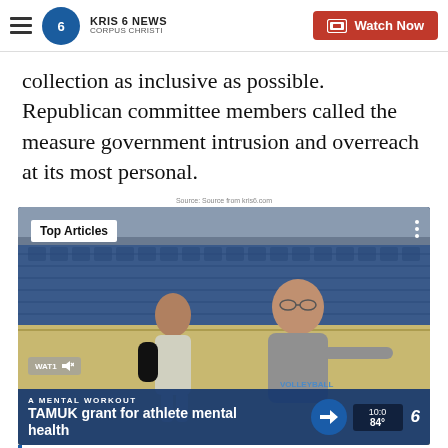KRIS 6 NEWS CORPUS CHRISTI | Watch Now
collection as inclusive as possible. Republican committee members called the measure government intrusion and overreach at its most personal.
Source: Source from kris6.com
[Figure (screenshot): Video thumbnail showing a volleyball coach and player on an indoor court with blue stadium seats in the background. Overlay shows 'Top Articles' badge, 'A MENTAL WORKOUT' label, and 'TAMUK grant for athlete mental health' title. Weather widget showing 84°. KRIS 6 News logo visible.]